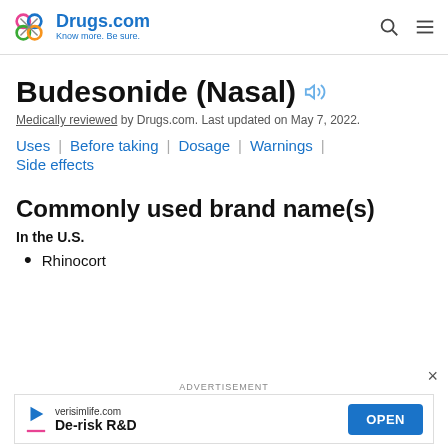Drugs.com — Know more. Be sure.
Budesonide (Nasal)
Medically reviewed by Drugs.com. Last updated on May 7, 2022.
Uses
Before taking
Dosage
Warnings
Side effects
Commonly used brand name(s)
In the U.S.
Rhinocort
ADVERTISEMENT
verisimlife.com — De-risk R&D — OPEN